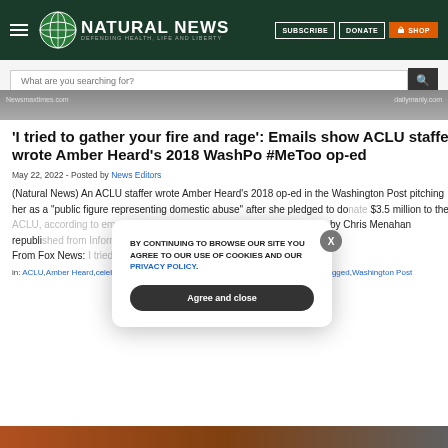Natural News — DEFENDING HEALTH, LIFE AND LIBERTY | SUBSCRIBE | DONATE | SHOP
What are you searching for?
[Figure (photo): Partial view of a person, hero image with watermarks 'Newsmaxtimes.com' and 'dailymanly.com']
'I tried to gather your fire and rage': Emails show ACLU staffer wrote Amber Heard's 2018 WashPo #MeToo op-ed
May 22, 2022 - Posted by News Editors
(Natural News) An ACLU staffer wrote Amber Heard's 2018 op-ed in the Washington Post pitching her as a "public figure representing domestic abuse" after she pledged to donate $3.5 million to the ACLU, according to emails introduced in court by Johnny Depp. (Article by Chris Menahan republished from InformationLiberation.com)
From Fox News: 'I tried to [...]
in: ACLU,Amber Heard,celebrities,hollywood,Johnny Depp,lies,metoo,op-ed,propaganda,rigged,Washington Post
[Figure (photo): Bottom image strip — partial photo]